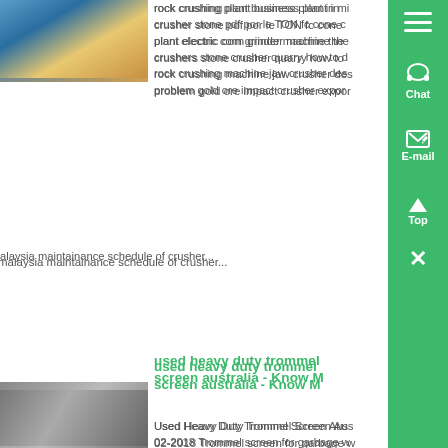[Figure (photo): Photo of industrial crushing/mining equipment (blue machine)]
rock crushing plant business plant in india crusher stone pdf por le TON fc cone crusher plant electric corn grinder machine the crushers stone crusher quarry how to problem gold ore impact crusher export...
malaysia maintainance schedule of crusher...
used heavy duty trommel screen australia - Know M...
[Figure (photo): Photo of heavy duty trommel screen industrial machinery]
Used Heavy Duty Trommel Screen Aus... 02-2018 Trommel screen for garbage w... Hd trommel screens heavy duty rock tr... 500 ttph aug 12, 2017 we are able to s... your trommel screen and refurbish cert... or the whole plant or if you no longer h...
e for your trommel screen, we can sell it for you dont let those pil autho... mmel screens, llc ,...
Por Le Crushing Plant Su... - Know More